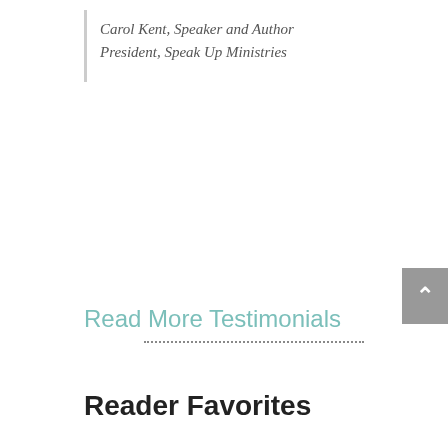Carol Kent, Speaker and Author
President, Speak Up Ministries
Read More Testimonials
Reader Favorites